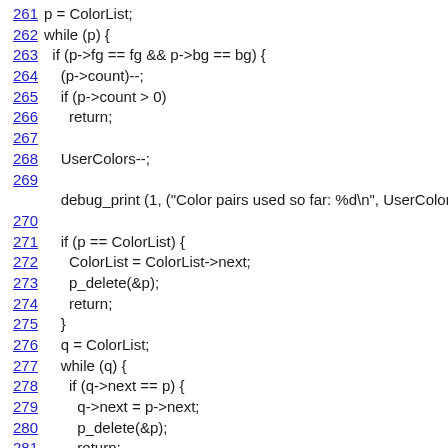Code listing lines 261-284 showing C code for color list management
261   p = ColorList;
262   while (p) {
263     if (p->fg == fg && p->bg == bg) {
264       (p->count)--;
265       if (p->count > 0)
266         return;
267
268       UserColors--;
269
debug_print (1, ("Color pairs used so far: %d\n", UserColors));
270
271       if (p == ColorList) {
272         ColorList = ColorList->next;
273         p_delete(&p);
274         return;
275       }
276       q = ColorList;
277       while (q) {
278         if (q->next == p) {
279           q->next = p->next;
280           p_delete(&p);
281           return;
282         }
283         q = q->next;
284       }